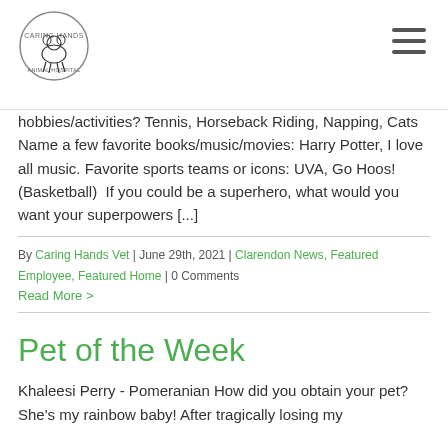Caring Hands Animal Hospital logo and navigation menu
hobbies/activities? Tennis, Horseback Riding, Napping, Cats  Name a few favorite books/music/movies: Harry Potter, I love all music. Favorite sports teams or icons: UVA, Go Hoos! (Basketball)  If you could be a superhero, what would you want your superpowers [...]
By Caring Hands Vet | June 29th, 2021 | Clarendon News, Featured Employee, Featured Home | 0 Comments
Read More >
Pet of the Week
Khaleesi Perry - Pomeranian How did you obtain your pet? She's my rainbow baby! After tragically losing my